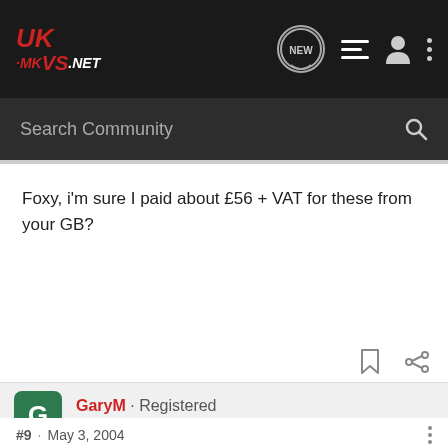UK-MKVS.NET
Search Community
Foxy, i'm sure I paid about £56 + VAT for these from your GB?
GaryM · Registered
Joined Aug 28, 2003 · 7,208 Posts
#9 · May 3, 2004